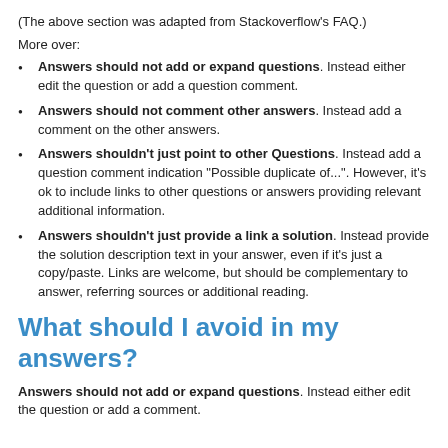(The above section was adapted from Stackoverflow's FAQ.)
More over:
Answers should not add or expand questions. Instead either edit the question or add a question comment.
Answers should not comment other answers. Instead add a comment on the other answers.
Answers shouldn't just point to other Questions. Instead add a question comment indication "Possible duplicate of...". However, it's ok to include links to other questions or answers providing relevant additional information.
Answers shouldn't just provide a link a solution. Instead provide the solution description text in your answer, even if it's just a copy/paste. Links are welcome, but should be complementary to answer, referring sources or additional reading.
What should I avoid in my answers?
Answers should not add or expand questions. Instead either edit the question or add a comment.